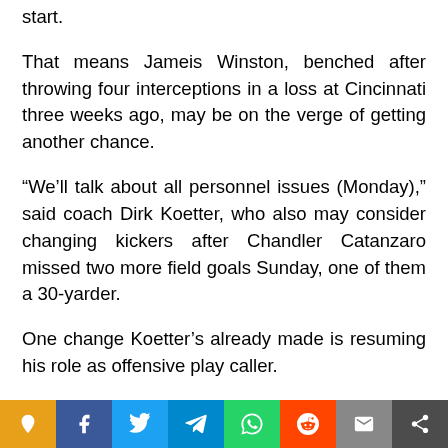start.
That means Jameis Winston, benched after throwing four interceptions in a loss at Cincinnati three weeks ago, may be on the verge of getting another chance.
“We’ll talk about all personnel issues (Monday),” said coach Dirk Koetter, who also may consider changing kickers after Chandler Catanzaro missed two more field goals Sunday, one of them a 30-yarder.
One change Koetter’s already made is resuming his role as offensive play caller.
Offensive coordinator Todd Monken handled the responsibility for the first eight games, and the Bucs have the NFL’s No. 1 passing attack and rank second in total offe